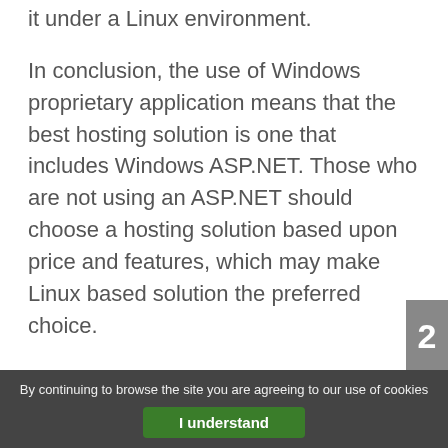it under a Linux environment.
In conclusion, the use of Windows proprietary application means that the best hosting solution is one that includes Windows ASP.NET. Those who are not using an ASP.NET should choose a hosting solution based upon price and features, which may make Linux based solution the preferred choice.
About the Author: Dustin Williams is an IT Professional who currently works in the web hosting industry for a global web hosting provider. He has been working in the IT field for almost 10 years. Visit MidPhase.com to learn more about Windows ASP.net web hosting.
By continuing to browse the site you are agreeing to our use of cookies
I understand